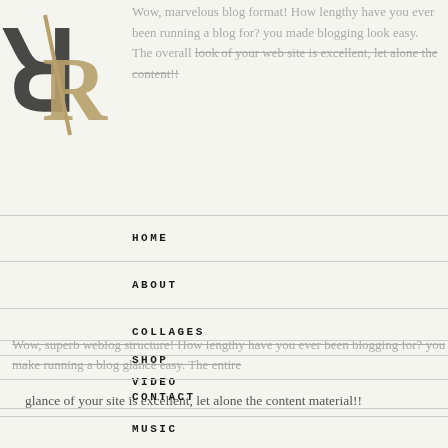[Figure (logo): RR logo in gold/dark serif lettering with slash between two R letters]
Wow, marvelous blog format! How lengthy have you ever been running a blog for? you made blogging look easy. The overall look of your web site is excellent, let alone the content!!
HOME
ABOUT
COLLAGES
VIDEO
MUSIC
business linkedin says
September 27, 2021 at 8:28 am
SHOP
CONTACT
Wow, superb weblog structure! How lengthy have you ever been blogging for? you make running a blog glance easy. The entire glance of your site is excellent, let alone the content material!!